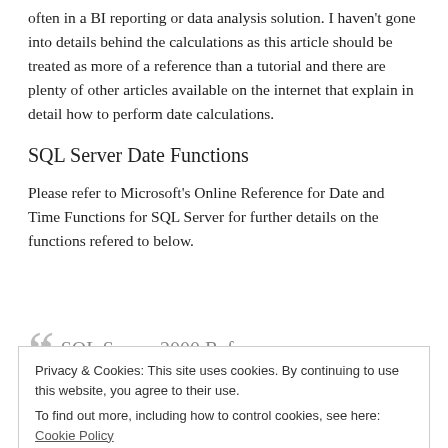often in a BI reporting or data analysis solution. I haven't gone into details behind the calculations as this article should be treated as more of a reference than a tutorial and there are plenty of other articles available on the internet that explain in detail how to perform date calculations.
SQL Server Date Functions
Please refer to Microsoft's Online Reference for Date and Time Functions for SQL Server for further details on the functions refered to below.
SQL Server 2000 Reference
Privacy & Cookies: This site uses cookies. By continuing to use this website, you agree to their use.
To find out more, including how to control cookies, see here: Cookie Policy